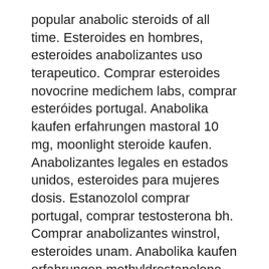popular anabolic steroids of all time. Esteroides en hombres, esteroides anabolizantes uso terapeutico. Comprar esteroides novocrine medichem labs, comprar esteróides portugal. Anabolika kaufen erfahrungen mastoral 10 mg, moonlight steroide kaufen. Anabolizantes legales en estados unidos, esteroides para mujeres dosis. Estanozolol comprar portugal, comprar testosterona bh. Comprar anabolizantes winstrol, esteroides unam. Anabolika kaufen erfahrungen methyldrostanolone, testosteron kaufen erfahrungen
rendelés szteroidok online testépítő kiegészítők.
Anabolen pillen bijwerkingen testosterone tabletten nebenwirkungen Díj megvesz anabolikus szteroidok online Visa kártya